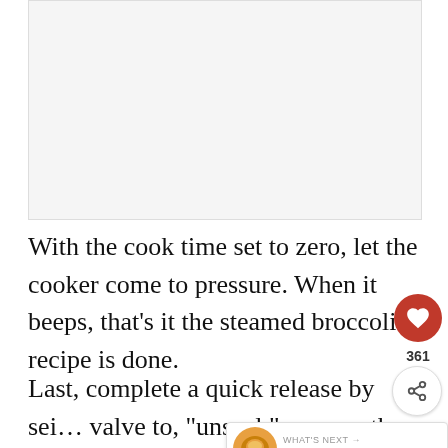[Figure (photo): Blank/white image placeholder area at top of page]
With the cook time set to zero, let the cooker come to pressure. When it beeps, that's it the steamed broccoli recipe is done.
Last, complete a quick release by setting the valve to, "unseal," remove the lid, and serve the broccoli while it's hot. Done and done!